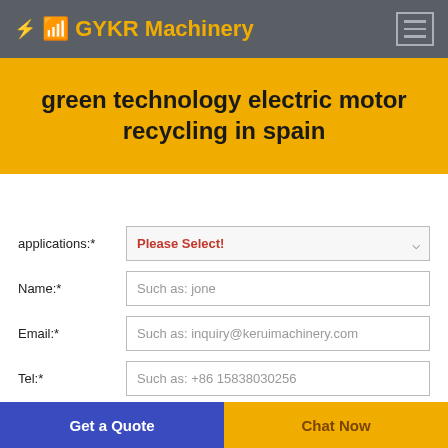GYKR Machinery
green technology electric motor recycling in spain
applications:* Please Select!
Name:* Such as: jone
Email:* Such as: inquiry@keruimachinery.com
Tel:* Such as: +86 15838030256
Get a Quote | Chat Now